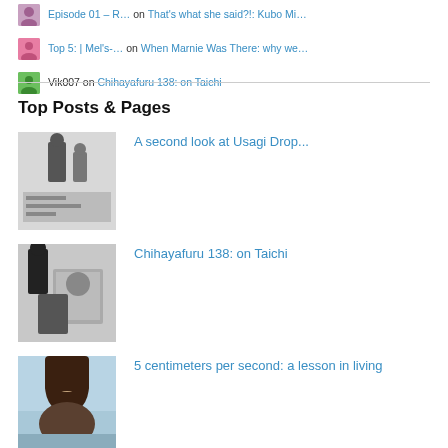Episode 01 – R… on That's what she said?!: Kubo Mi…
Top 5: | Mel's-… on When Marnie Was There: why we…
Vik007 on Chihayafuru 138: on Taichi
Top Posts & Pages
A second look at Usagi Drop...
Chihayafuru 138: on Taichi
5 centimeters per second: a lesson in living